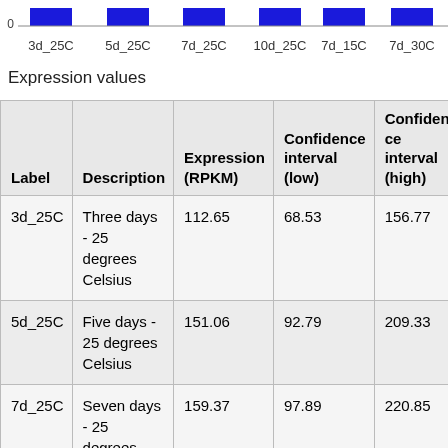[Figure (bar-chart): ]
Expression values
| Label | Description | Expression (RPKM) | Confidence interval (low) | Confidence interval (high) |
| --- | --- | --- | --- | --- |
| 3d_25C | Three days - 25 degrees Celsius | 112.65 | 68.53 | 156.77 |
| 5d_25C | Five days - 25 degrees Celsius | 151.06 | 92.79 | 209.33 |
| 7d_25C | Seven days - 25 degrees Celsius | 159.37 | 97.89 | 220.85 |